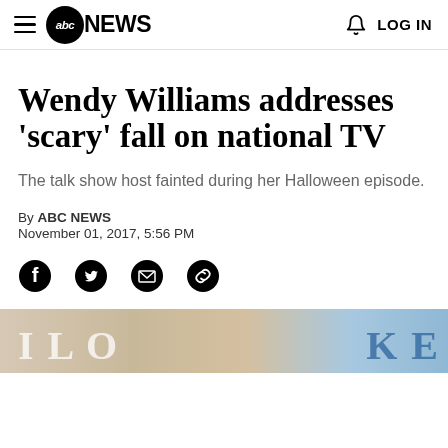abc NEWS  LOG IN
Wendy Williams addresses 'scary' fall on national TV
The talk show host fainted during her Halloween episode.
By ABC NEWS
November 01, 2017, 5:56 PM
[Figure (other): Social sharing icons row: Facebook, Twitter, Email, Link]
[Figure (photo): Bottom cropped photo showing a woman with blonde hair in front of a backdrop with partial text visible]